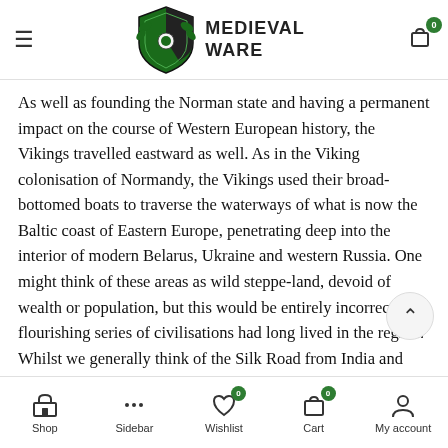Medieval Ware — site header with logo, hamburger menu, and cart icon
As well as founding the Norman state and having a permanent impact on the course of Western European history, the Vikings travelled eastward as well. As in the Viking colonisation of Normandy, the Vikings used their broad-bottomed boats to traverse the waterways of what is now the Baltic coast of Eastern Europe, penetrating deep into the interior of modern Belarus, Ukraine and western Russia. One might think of these areas as wild steppe-land, devoid of wealth or population, but this would be entirely incorrect: a flourishing series of civilisations had long lived in the region. Whilst we generally think of the Silk Road from India and China as entering Western Europe via the Mediterranean towards Italy, the lesser-known 'Volga trade
Shop | Sidebar | Wishlist 0 | Cart 0 | My account